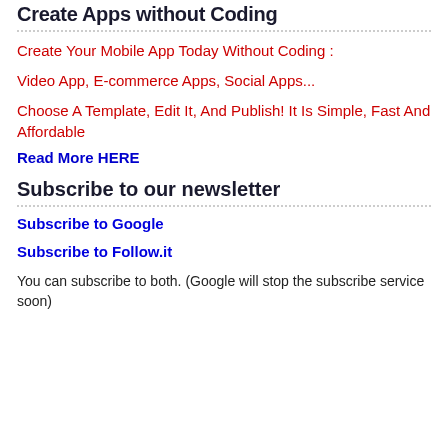Create Apps without Coding
Create Your Mobile App Today Without Coding :
Video App, E-commerce Apps, Social Apps...
Choose A Template, Edit It, And Publish! It Is Simple, Fast And Affordable
Read More HERE
Subscribe to our newsletter
Subscribe to Google
Subscribe to Follow.it
You can subscribe to both. (Google will stop the subscribe service soon)